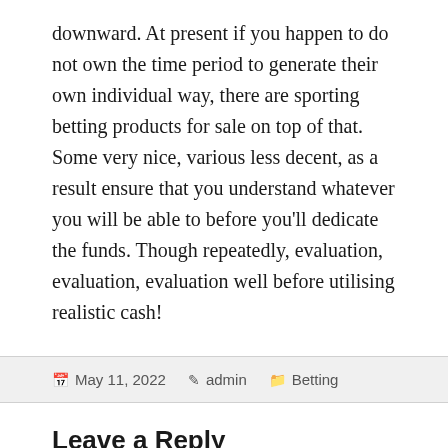downward. At present if you happen to do not own the time period to generate their own individual way, there are sporting betting products for sale on top of that. Some very nice, various less decent, as a result ensure that you understand whatever you will be able to before you'll dedicate the funds. Though repeatedly, evaluation, evaluation, evaluation well before utilising realistic cash!
May 11, 2022  admin  Betting
Leave a Reply
Your email address will not be published. Required fields are marked *
COMMENT *